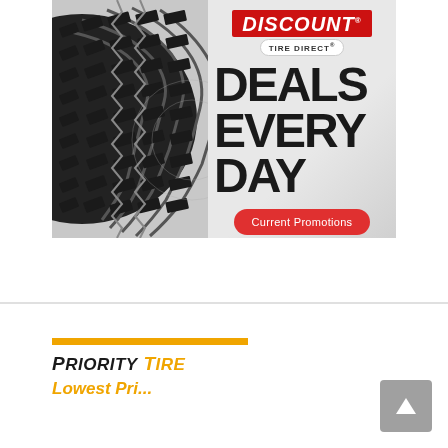[Figure (illustration): Discount Tire Direct advertisement banner showing a close-up of a tire tread on the left and text 'DEALS EVERY DAY' with 'Current Promotions' red button on the right, over a grey background with the Discount Tire Direct logo at top.]
[Figure (logo): Priority Tire logo with orange horizontal bar above, black bold italic text 'PRIORITY' followed by orange bold italic text 'TIRE', and below partially visible orange italic text starting with 'Lowest Pri...']